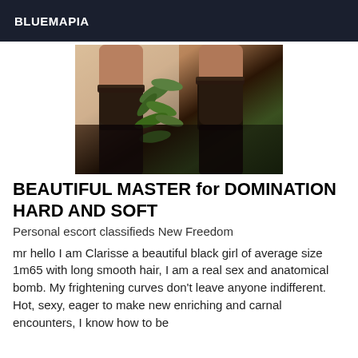BLUEMAPIA
[Figure (photo): Photo showing legs of a person wearing dark stockings/thigh-highs with a plant in the background]
BEAUTIFUL MASTER for DOMINATION HARD AND SOFT
Personal escort classifieds New Freedom
mr hello I am Clarisse a beautiful black girl of average size 1m65 with long smooth hair, I am a real sex and anatomical bomb. My frightening curves don't leave anyone indifferent. Hot, sexy, eager to make new enriching and carnal encounters, I know how to be